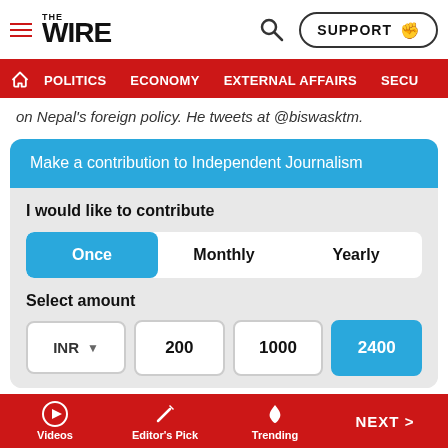THE WIRE — SUPPORT | POLITICS | ECONOMY | EXTERNAL AFFAIRS | SECU...
on Nepal's foreign policy. He tweets at @biswasktm.
Make a contribution to Independent Journalism
I would like to contribute
Once | Monthly | Yearly
Select amount
INR ▾ | 200 | 1000 | 2400
Videos | Editor's Pick | Trending | NEXT >